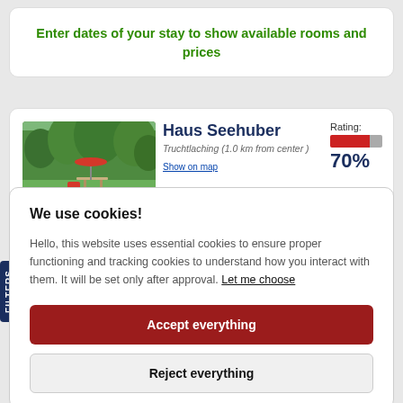Enter dates of your stay to show available rooms and prices
Haus Seehuber
Truchtlaching (1.0 km from center )
Show on map
Rating: 70%
Haus Seehuber is set in Truchtlaching. The property has garden views and is 16 km from Prien am Chiemsee. With 2 bedrooms and 1 bathroom with a
We use cookies!
Hello, this website uses essential cookies to ensure proper functioning and tracking cookies to understand how you interact with them. It will be set only after approval. Let me choose
Accept everything
Reject everything
FILTERS